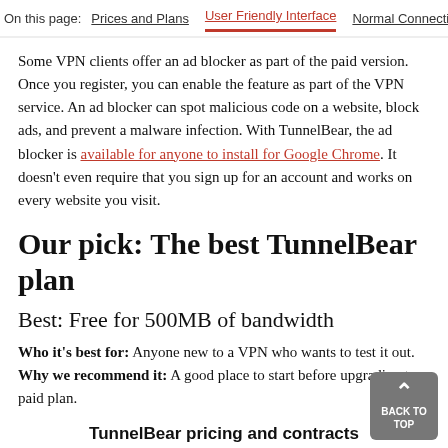On this page: Prices and Plans | User Friendly Interface | Normal Connection | Free A...
Some VPN clients offer an ad blocker as part of the paid version. Once you register, you can enable the feature as part of the VPN service. An ad blocker can spot malicious code on a website, block ads, and prevent a malware infection. With TunnelBear, the ad blocker is available for anyone to install for Google Chrome. It doesn't even require that you sign up for an account and works on every website you visit.
Our pick: The best TunnelBear plan
Best: Free for 500MB of bandwidth
Who it's best for: Anyone new to a VPN who wants to test it out. Why we recommend it: A good place to start before upgrading to a paid plan.
TunnelBear pricing and contracts
| Plan | Price | Standout feature | Detail |
| --- | --- | --- | --- |